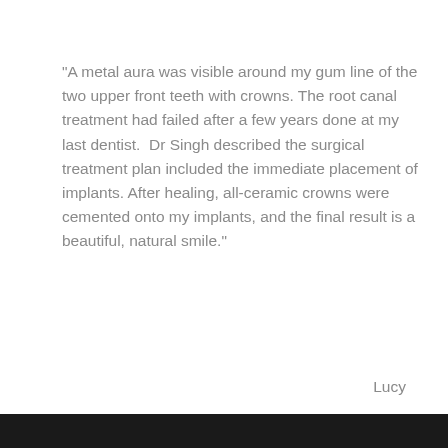"A metal aura was visible around my gum line of the two upper front teeth with crowns. The root canal treatment had failed after a few years done at my last dentist.  Dr Singh described the surgical treatment plan included the immediate placement of implants. After healing, all-ceramic crowns were cemented onto my implants, and the final result is a beautiful, natural smile."
Lucy
4.- Non-conductivity of zirconia:
The fact that zirconia does not conduct an electrical charge is a big benefit. Bacterial growth on the surface of a zirconia implant is far less likely to adhere due to its non-conductivity, thus creating an